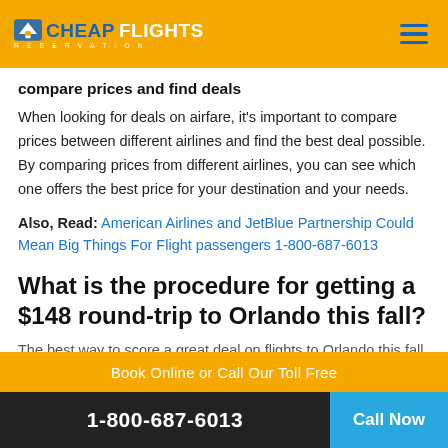CHEAPFLIGHTS RESERVATION
compare prices and find deals
When looking for deals on airfare, it's important to compare prices between different airlines and find the best deal possible. By comparing prices from different airlines, you can see which one offers the best price for your destination and your needs.
Also, Read: American Airlines and JetBlue Partnership Could Mean Big Things For Flight passengers 1-800-687-6013
What is the procedure for getting a $148 round-trip to Orlando this fall?
The best way to score a great deal on flights to Orlando this fall is to
Book Online or Call Our Toll Free
1-800-687-6013  Call Now